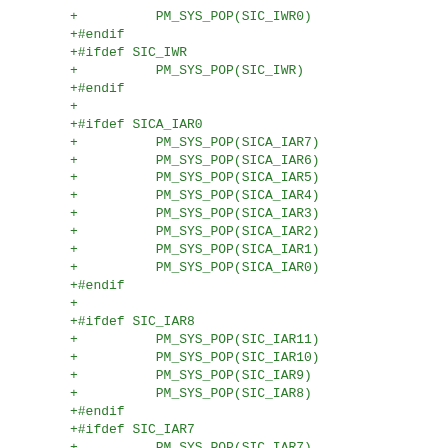+          PM_SYS_POP(SIC_IWR0)
+#endif
+#ifdef SIC_IWR
+          PM_SYS_POP(SIC_IWR)
+#endif
+
+#ifdef SICA_IAR0
+          PM_SYS_POP(SICA_IAR7)
+          PM_SYS_POP(SICA_IAR6)
+          PM_SYS_POP(SICA_IAR5)
+          PM_SYS_POP(SICA_IAR4)
+          PM_SYS_POP(SICA_IAR3)
+          PM_SYS_POP(SICA_IAR2)
+          PM_SYS_POP(SICA_IAR1)
+          PM_SYS_POP(SICA_IAR0)
+#endif
+
+#ifdef SIC_IAR8
+          PM_SYS_POP(SIC_IAR11)
+          PM_SYS_POP(SIC_IAR10)
+          PM_SYS_POP(SIC_IAR9)
+          PM_SYS_POP(SIC_IAR8)
+#endif
+#ifdef SIC_IAR7
+          PM_SYS_POP(SIC_IAR7)
+#endif
+#ifdef SIC_IAR